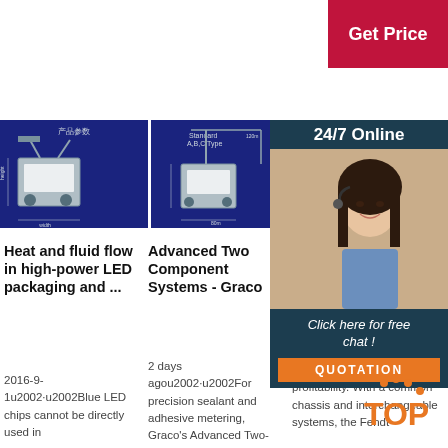[Figure (infographic): Red 'Get Price' button, top right corner]
[Figure (photo): Industrial machine with Chinese text '产品参数' on dark blue background with dimensions]
[Figure (engineering-diagram): Two-component dispensing machine diagram labeled 'Standard A,B,C Type' on dark blue background with dimension annotations]
[Figure (photo): Another industrial machine photo on dark blue background]
[Figure (infographic): 24/7 Online chat overlay with woman wearing headset, and 'Click here for free chat!' button with QUOTATION button below]
Heat and fluid flow in high-power LED packaging and ...
2016-9-1u2002·u2002Blue LED chips cannot be directly used in
Advanced Two Component Systems - Graco
2 days agou2002·u2002For precision sealant and adhesive metering, Graco's Advanced Two-Component
Fend 900 S Spray
More versatility for more profitability. With a common chassis and interchangeable systems, the Fendt